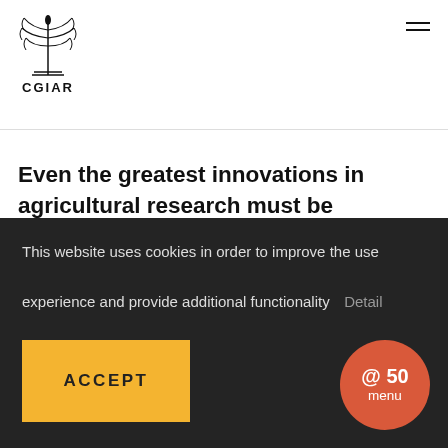[Figure (logo): CGIAR logo: stylized wheat/eagle emblem with text CGIAR below]
Even the greatest innovations in agricultural research must be evaluated for their ability to have impact at scale. Without the right scaling strategy and partnerships, many innovations fall into
This website uses cookies in order to improve the use experience and provide additional functionality
Detail
ACCEPT
@ 50 menu